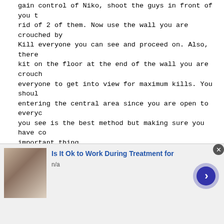gain control of Niko, shoot the guys in front of you to rid of 2 of them. Now use the wall you are crouched by Kill everyone you can see and proceed on. Also, there kit on the floor at the end of the wall you are crouch everyone to get into view for maximum kills. You shoul entering the central area since you are open to everyc you see is the best method but making sure you have co important thing.
All may seem quiet but above your couching wall are lo out is sure to get you hurt. Plan where you are going running out into the open.
Make sure you watch out for the red tanks, one shot wh kill you. Once everyone is dead, go up the stairs and Before you go, aim upwards and shoot any red tanks you
**********
* Going Up *
 **********
There isn't much difference in the next couple of floc good idea in tight quarters like the pillars
[Figure (screenshot): Infolinks advertisement overlay at the bottom of the page showing an ad for 'Is It Ok to Work During Treatment for' with a photo of a person, n/a text, a blue arrow button, and a close button. The infolinks bar is shown above the ad.]